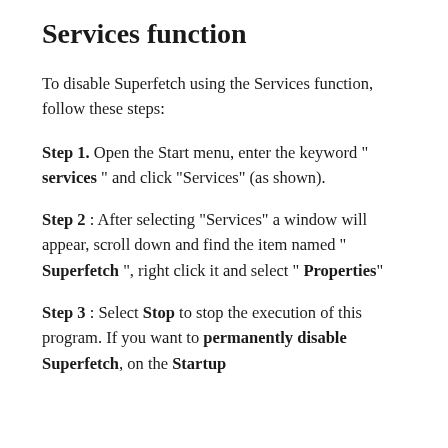Services function
To disable Superfetch using the Services function, follow these steps:
Step 1. Open the Start menu, enter the keyword “ services ” and click “Services” (as shown).
Step 2 : After selecting “Services” a window will appear, scroll down and find the item named “ Superfetch “, right click it and select “ Properties”
Step 3 : Select Stop to stop the execution of this program. If you want to permanently disable Superfetch, on the Startup